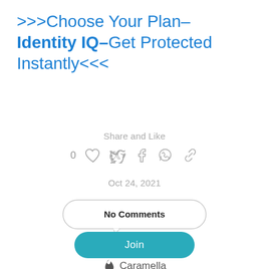>>>Choose Your Plan– Identity IQ–Get Protected Instantly<<<
Share and Like
0
Oct 24, 2021
No Comments
Join
[Figure (logo): Caramella logo with droplet icon and text 'Caramella']